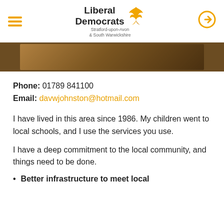Liberal Democrats Stratford-upon-Avon & South Warwickshire
[Figure (photo): Partial photo of a person, cropped, showing warm brown tones]
Phone: 01789 841100
Email: davwjohnston@hotmail.com
I have lived in this area since 1986. My children went to local schools, and I use the services you use.
I have a deep commitment to the local community, and things need to be done.
Better infrastructure to meet local